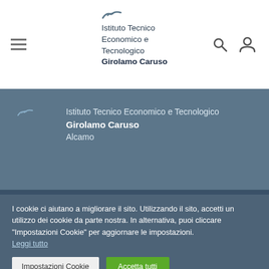Istituto Tecnico Economico e Tecnologico Girolamo Caruso
Istituto Tecnico Economico e Tecnologico
Girolamo Caruso
Alcamo
I cookie ci aiutano a migliorare il sito. Utilizzando il sito, accetti un utilizzo dei cookie da parte nostra. In alternativa, puoi cliccare "Impostazioni Cookie" per aggiornare le impostazioni. Leggi tutto
Impostazioni Cookie
Accetta tutti